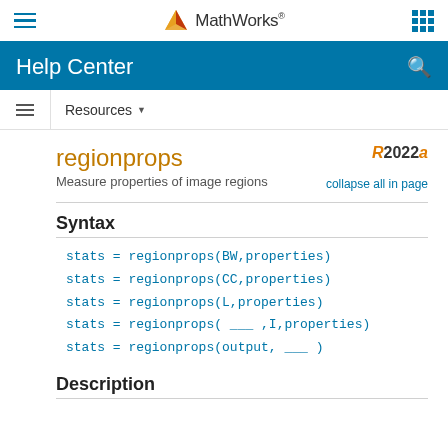MathWorks Help Center
regionprops
Measure properties of image regions
R2022a  collapse all in page
Syntax
stats = regionprops(BW,properties)
stats = regionprops(CC,properties)
stats = regionprops(L,properties)
stats = regionprops( ___ ,I,properties)
stats = regionprops(output, ___ )
Description